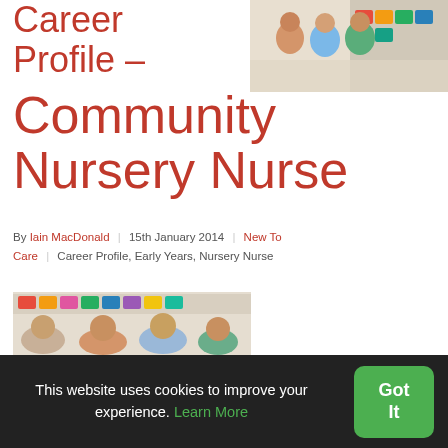Career Profile – Community Nursery Nurse
[Figure (photo): Children sitting together in a nursery/classroom setting, colorful shelves in background]
By Iain MacDonald | 15th January 2014 | New To Care | Career Profile, Early Years, Nursery Nurse
[Figure (photo): Children in a nursery setting with colorful storage bins/shelves in background]
This website uses cookies to improve your experience. Learn More
Got It